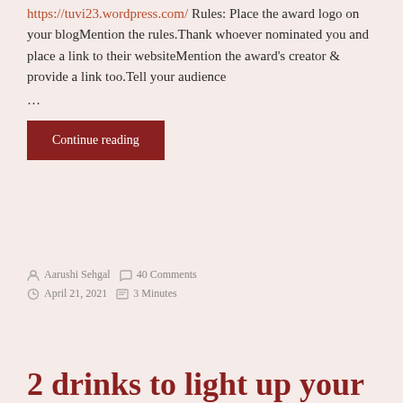Check out her blog too, it is great! https://tuvi23.wordpress.com/ Rules: Place the award logo on your blogMention the rules.Thank whoever nominated you and place a link to their websiteMention the award's creator & provide a link too.Tell your audience …
Continue reading
Aarushi Sehgal   40 Comments   April 21, 2021   3 Minutes
2 drinks to light up your